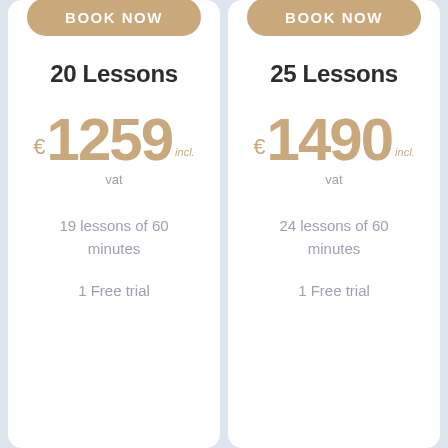BOOK NOW
BOOK NOW
20 Lessons
25 Lessons
€1259 incl. vat
€1490 incl. vat
19 lessons of 60 minutes
24 lessons of 60 minutes
1 Free trial
1 Free trial